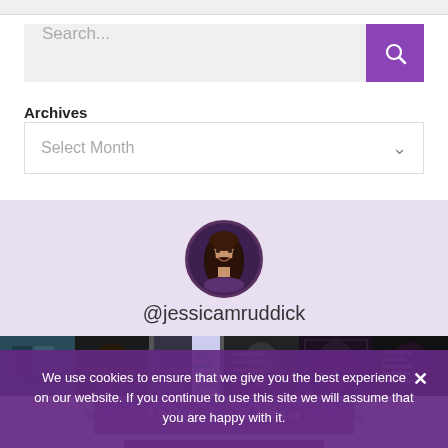[Figure (screenshot): Search bar with purple search button (magnifying glass icon)]
Archives
[Figure (screenshot): Dropdown select box labeled 'Select Month' with down chevron]
[Figure (photo): Circular profile photo of a woman with brown hair smiling, set on lavender background]
@jessicamruddick
[Figure (photo): Horizontal strip of Instagram thumbnail images]
We use cookies to ensure that we give you the best experience on our website. If you continue to use this site we will assume that you are happy with it.